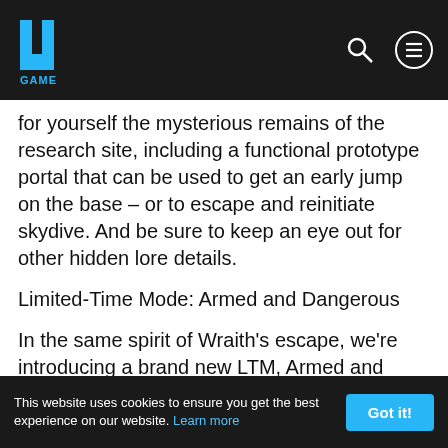4GAME website header with logo and navigation icons
for yourself the mysterious remains of the research site, including a functional prototype portal that can be used to get an early jump on the base – or to escape and reinitiate skydive. And be sure to keep an eye out for other hidden lore details.
Limited-Time Mode: Armed and Dangerous
In the same spirit of Wraith's escape, we're introducing a brand new LTM, Armed and Dangerous, where weapons are limited to snipers and shotguns while overall loot is much harder to come by.
As with previous modes, keep on the lookout for in-game surveys and let us know your feedback. We're planning to roll out more of these modes in the future, so your thoughts are much appreciated!
Event Challenges with Free Loot
This website uses cookies to ensure you get the best experience on our website. Learn more   Got it!